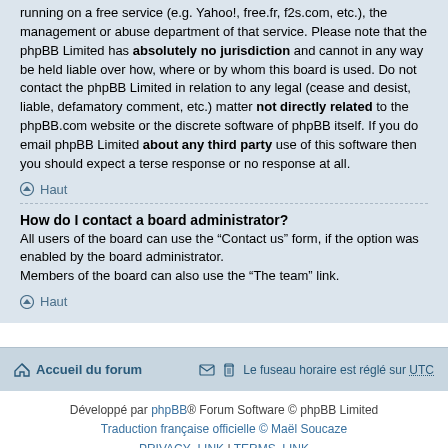running on a free service (e.g. Yahoo!, free.fr, f2s.com, etc.), the management or abuse department of that service. Please note that the phpBB Limited has absolutely no jurisdiction and cannot in any way be held liable over how, where or by whom this board is used. Do not contact the phpBB Limited in relation to any legal (cease and desist, liable, defamatory comment, etc.) matter not directly related to the phpBB.com website or the discrete software of phpBB itself. If you do email phpBB Limited about any third party use of this software then you should expect a terse response or no response at all.
Haut
How do I contact a board administrator?
All users of the board can use the “Contact us” form, if the option was enabled by the board administrator.
Members of the board can also use the “The team” link.
Haut
Accueil du forum | Le fuseau horaire est réglé sur UTC
Développé par phpBB® Forum Software © phpBB Limited
Traduction française officielle © Maël Soucaze
PRIVACY_LINK | TERMS_LINK